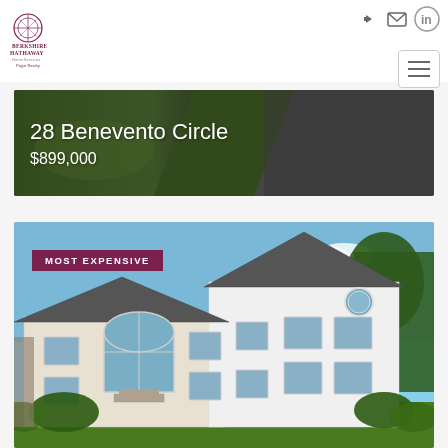[Figure (logo): Berkshire Hathaway HomeServices Page Realty logo with circular crest icon]
[Figure (screenshot): Navigation icons: login arrow, envelope/mail, LinkedIn circle icon, and hamburger menu button]
28 Benevento Circle
$899,000
[Figure (photo): Aerial/overhead photo of property: half green lawn, half dark driveway pavement, forming the hero banner background]
[Figure (photo): Exterior photo of a large two-story white colonial house with gray roof, arched window entry, circular upper window, multiple rectangular windows, green landscaping in foreground, blue sky background. Badge reads MOST EXPENSIVE.]
MOST EXPENSIVE